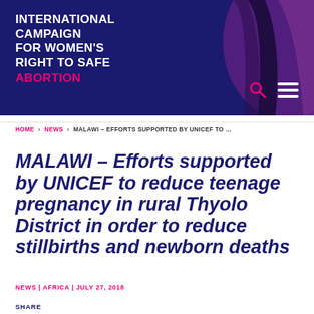INTERNATIONAL CAMPAIGN FOR WOMEN'S RIGHT TO SAFE ABORTION
HOME > NEWS > MALAWI – EFFORTS SUPPORTED BY UNICEF TO ...
MALAWI – Efforts supported by UNICEF to reduce teenage pregnancy in rural Thyolo District in order to reduce stillbirths and newborn deaths
NEWS | AFRICA | JULY 27, 2018
SHARE